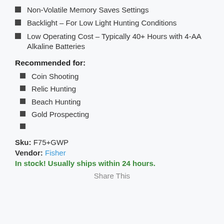Non-Volatile Memory Saves Settings
Backlight – For Low Light Hunting Conditions
Low Operating Cost – Typically 40+ Hours with 4-AA Alkaline Batteries
Recommended for:
Coin Shooting
Relic Hunting
Beach Hunting
Gold Prospecting
Sku: F75+GWP
Vendor: Fisher
In stock! Usually ships within 24 hours.
Share This